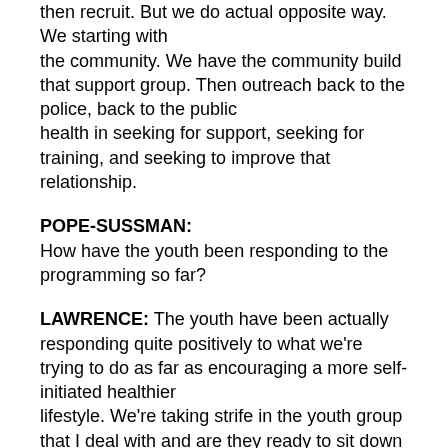then recruit. But we do actual opposite way. We starting with the community. We have the community build that support group. Then outreach back to the police, back to the public health in seeking for support, seeking for training, and seeking to improve that relationship.
POPE-SUSSMAN: How have the youth been responding to the programming so far?
LAWRENCE: The youth have been actually responding quite positively to what we're trying to do as far as encouraging a more self-initiated healthier lifestyle. We're taking strife in the youth group that I deal with and are they ready to sit down across from police officers and have these wholehearted